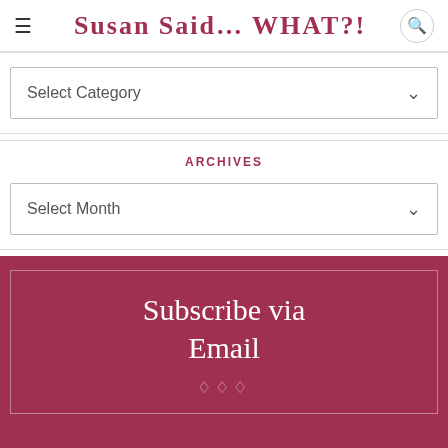Susan Said... WHAT?!
Select Category
ARCHIVES
Select Month
Subscribe via Email